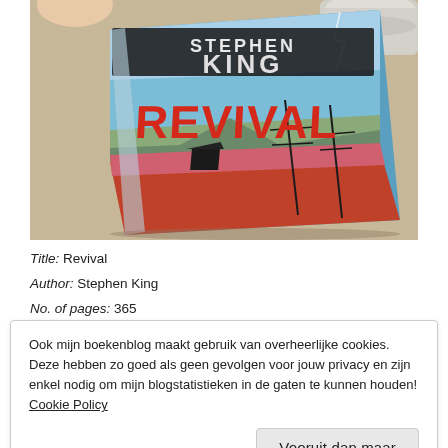[Figure (photo): Photo of the book 'Revival' by Stephen King lying on a burlap/linen surface. The book cover shows the title 'REVIVAL' in large red letters and 'STEPHEN KING' at the top in dark letters. The background of the cover shows a stormy sky, landscape with telephone poles and a dark building. A mug is partially visible at the top.]
Title: Revival
Author: Stephen King
No. of pages: 365
Ook mijn boekenblog maakt gebruik van overheerlijke cookies. Deze hebben zo goed als geen gevolgen voor jouw privacy en zijn enkel nodig om mijn blogstatistieken in de gaten te kunnen houden! Cookie Policy